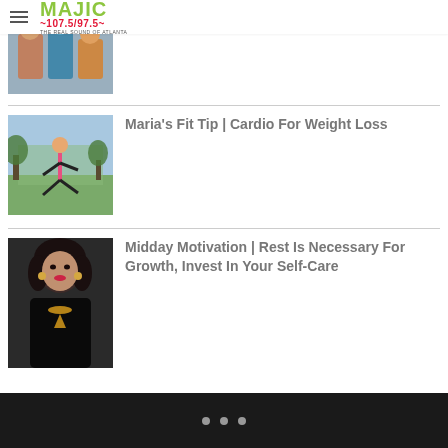MAJIC 107.5/97.5 THE REAL SOUND OF ATLANTA
[Figure (photo): Partial thumbnail image of people at top]
Couch Time with Big Ray: Soul 4 Real [Watch]
[Figure (photo): Woman jogging outdoors in park with trees]
Maria's Fit Tip | Cardio For Weight Loss
[Figure (photo): Portrait of a woman with dark hair and bold makeup]
Midday Motivation | Rest Is Necessary For Growth, Invest In Your Self-Care
• • •